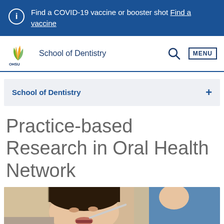Find a COVID-19 vaccine or booster shot Find a vaccine
School of Dentistry
School of Dentistry
Practice-based Research in Oral Health Network
[Figure (photo): A female patient in a dental chair with mouth open being examined by a dental professional in blue scrubs]